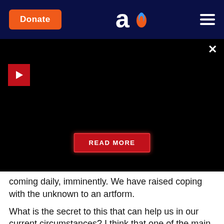[Figure (screenshot): Navigation bar with orange Donate button on the left, Aish.com logo (letter 'a' with flame) in the center, and hamburger menu on the right, on a dark navy background]
[Figure (screenshot): Black video panel with a red play button in the upper-left, a close X button in the upper-right, and a red READ MORE button in the center-bottom area]
coming daily, imminently. We have raised coping with the unknown to an artform.
What is the secret to this that can help us in our current circumstances? I think that one of the main qualities we all need to work on is patience. I don't mean the kind of patience where you keep your hand off the horn even though the light has turned green (one big plus of the quarantine – no traffic, no road rage – always some blessings to count) or don't scream